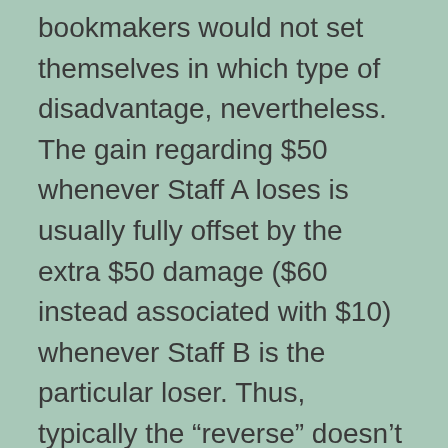bookmakers would not set themselves in which type of disadvantage, nevertheless. The gain regarding $50 whenever Staff A loses is usually fully offset by the extra $50 damage ($60 instead associated with $10) whenever Staff B is the particular loser. Thus, typically the “reverse” doesn’t in fact save us virtually any money, but it has the benefit of making typically the risk more predictable, and avoiding the particular worry as in order to which team to put first within the “if” bet.